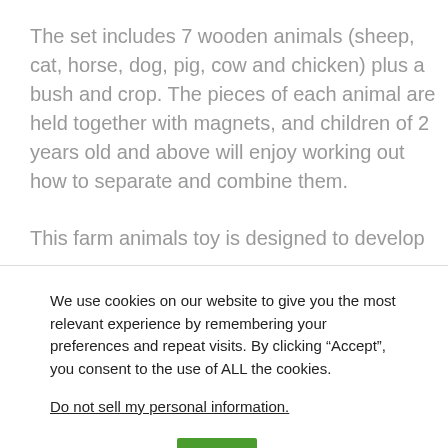The set includes 7 wooden animals (sheep, cat, horse, dog, pig, cow and chicken) plus a bush and crop. The pieces of each animal are held together with magnets, and children of 2 years old and above will enjoy working out how to separate and combine them.
This farm animals toy is designed to develop
We use cookies on our website to give you the most relevant experience by remembering your preferences and repeat visits. By clicking “Accept”, you consent to the use of ALL the cookies.
Do not sell my personal information.
Cookie settings   OK